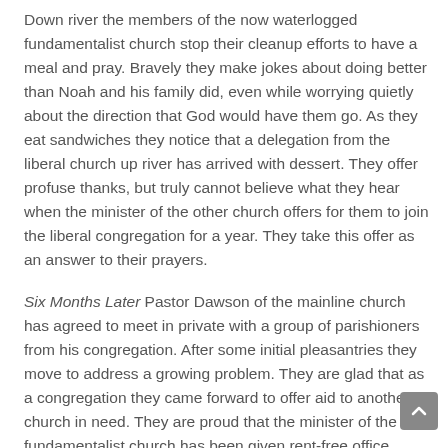Down river the members of the now waterlogged fundamentalist church stop their cleanup efforts to have a meal and pray. Bravely they make jokes about doing better than Noah and his family did, even while worrying quietly about the direction that God would have them go. As they eat sandwiches they notice that a delegation from the liberal church up river has arrived with dessert. They offer profuse thanks, but truly cannot believe what they hear when the minister of the other church offers for them to join the liberal congregation for a year. They take this offer as an answer to their prayers.
Six Months Later Pastor Dawson of the mainline church has agreed to meet in private with a group of parishioners from his congregation. After some initial pleasantries they move to address a growing problem. They are glad that as a congregation they came forward to offer aid to another church in need. They are proud that the minister of the fundamentalist church has been given rent-free office space in their building.